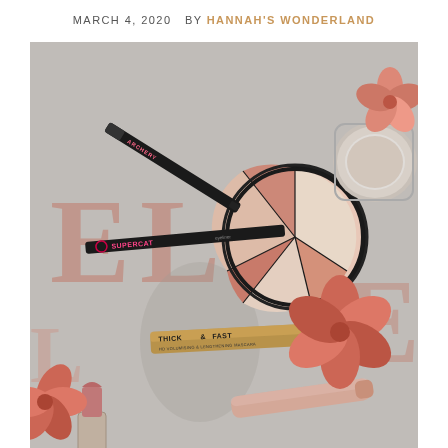MARCH 4, 2020   BY HANNAH'S WONDERLAND
[Figure (photo): Flat-lay beauty photo showing makeup products — eye pencils (Archery, Supercat), Thick & Fast mascara, a circular highlighter palette with pinwheel sections in pink and cream, a compact mirror, a pink lipstick, a nude lip gloss, and coral flowers — arranged on an ELLE magazine on a grey marble surface.]